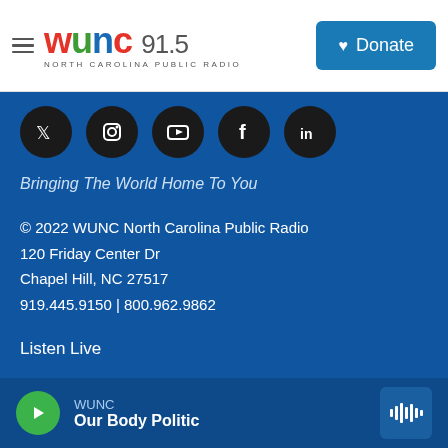[Figure (logo): WUNC 91.5 North Carolina Public Radio logo with hamburger menu and Donate button]
[Figure (infographic): Social media icons row: Twitter, Instagram, YouTube, Facebook, LinkedIn — white icons on black circular backgrounds]
Bringing The World Home To You
© 2022 WUNC North Carolina Public Radio
120 Friday Center Dr
Chapel Hill, NC 27517
919.445.9150 | 800.962.9862
Listen Live
Podcasts From WUNC
Events
About
[Figure (infographic): Audio player bar at bottom: green play button, WUNC label, Our Body Politic show title, waveform icon on right]